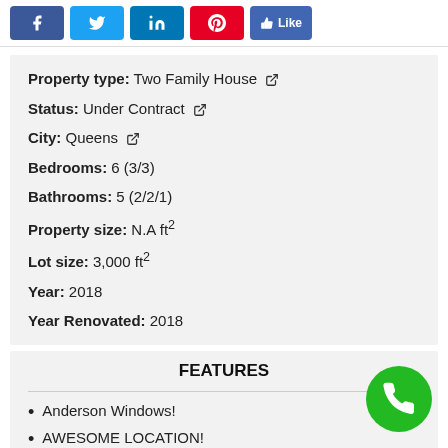[Figure (other): Social media share buttons: Facebook, Twitter, LinkedIn, Pinterest, and Facebook Like button]
Property type: Two Family House
Status: Under Contract
City: Queens
Bedrooms: 6 (3/3)
Bathrooms: 5 (2/2/1)
Property size: N.A ft²
Lot size: 3,000 ft²
Year: 2018
Year Renovated: 2018
FEATURES
Anderson Windows!
AWESOME LOCATION!